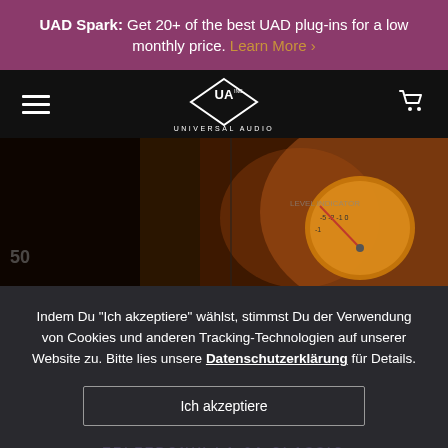UAD Spark: Get 20+ of the best UAD plug-ins for a low monthly price. Learn More ›
[Figure (logo): Universal Audio logo — diamond shape with UA INC lettering and UNIVERSAL AUDIO text below, on a dark navigation bar with hamburger menu and cart icon]
[Figure (photo): Close-up photo of audio hardware/VU meters with warm amber/orange tones against dark background, showing level indicator dials]
Indem Du "Ich akzeptiere" wählst, stimmst Du der Verwendung von Cookies und anderen Tracking-Technologien auf unserer Website zu. Bitte lies unsere Datenschutzerklärung für Details.
Ich akzeptiere
TELETRONIX LA-2A CLASSIC